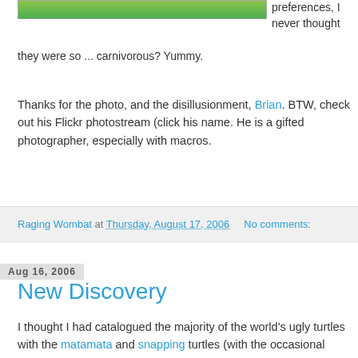[Figure (photo): Top portion of a photo showing green foliage/plant]
preferences, I never thought they were so ... carnivorous? Yummy.
Thanks for the photo, and the disillusionment, Brian. BTW, check out his Flickr photostream (click his name. He is a gifted photographer, especially with macros.
Raging Wombat at Thursday, August 17, 2006    No comments:
Aug 16, 2006
New Discovery
I thought I had catalogued the majority of the world's ugly turtles with the matamata and snapping turtles (with the occasional giant tortoise). Wes, however, has proven me wrong with his photo of the Florida Softshell turtle. These guys are far more aggressive and ill-tempered than their better-protected cousins - they have to compensate.